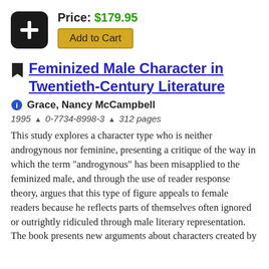Price: $179.95
Add to Cart
Feminized Male Character in Twentieth-Century Literature
Grace, Nancy McCampbell
1995 ▲ 0-7734-8998-3 ▲ 312 pages
This study explores a character type who is neither androgynous nor feminine, presenting a critique of the way in which the term "androgynous" has been misapplied to the feminized male, and through the use of reader response theory, argues that this type of figure appeals to female readers because he reflects parts of themselves often ignored or outrightly ridiculed through male literary representation. The book presents new arguments about characters created by